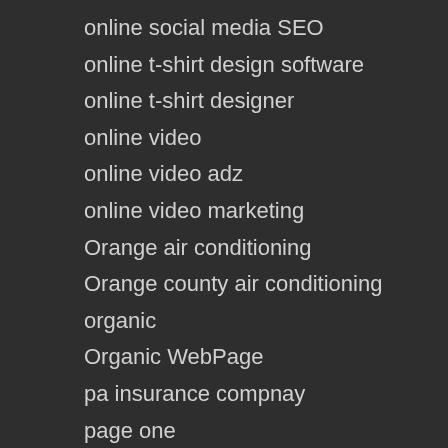online social media SEO
online t-shirt design software
online t-shirt designer
online video
online video adz
online video marketing
Orange air conditioning
Orange county air conditioning
organic
Organic WebPage
pa insurance compnay
page one
Pasad
Pasadena Solar Energy Contractor
Pasadena Solar Financing Options
Pasadena Solar Install Company
Pasadena Solar Service Provider